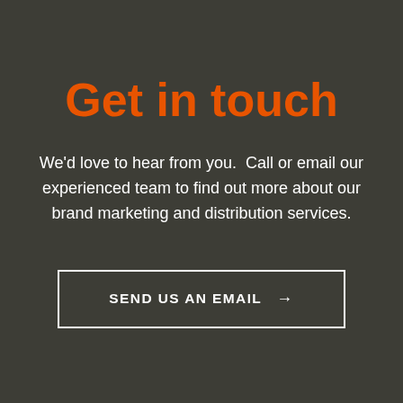Get in touch
We'd love to hear from you.  Call or email our experienced team to find out more about our brand marketing and distribution services.
SEND US AN EMAIL →